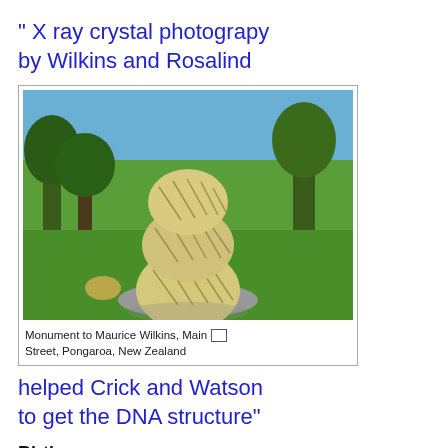" X ray crystal photograpy by Wilkins and Rosalind
[Figure (photo): Photograph of a stone sculpture monument to Maurice Wilkins on Main Street, Pongaroa, New Zealand. The sculpture consists of stacked spherical stone balls with cross-hatch markings, set on a gravel base in a green lawn with trees and hills in the background.]
Monument to Maurice Wilkins, Main Street, Pongaroa, New Zealand
helped Crick and Watson to get the DNA structure"
Birth:-
Maurice  was born in Pangaroa in New Zealand. His father was a doctor of medicine immigrated from Ireland; his mother, Eveline Whittacker, was a school